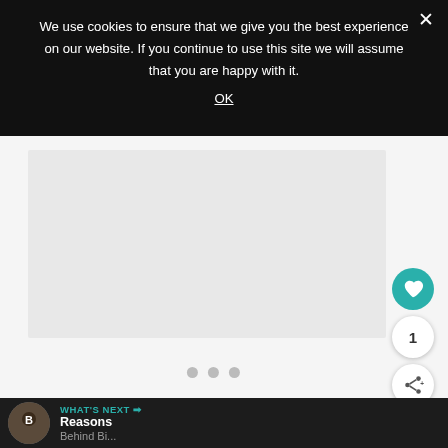We use cookies to ensure that we give you the best experience on our website. If you continue to use this site we will assume that you are happy with it.
OK
[Figure (other): Main content area with light gray background and image placeholder, three pagination dots at bottom]
1
WHAT'S NEXT → Reasons Behind Bi...